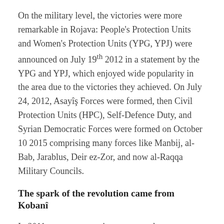On the military level, the victories were more remarkable in Rojava: People's Protection Units and Women's Protection Units (YPG, YPJ) were announced on July 19th 2012 in a statement by the YPG and YPJ, which enjoyed wide popularity in the area due to the victories they achieved. On July 24, 2012, Asayîş Forces were formed, then Civil Protection Units (HPC), Self-Defence Duty, and Syrian Democratic Forces were formed on October 10 2015 comprising many forces like Manbij, al-Bab, Jarablus, Deir ez-Zor, and now al-Raqqa Military Councils.
The spark of the revolution came from Kobanî
In 2011, secret preparations were made to